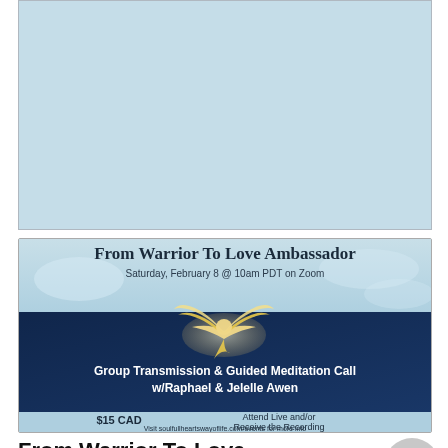transmission:
[Figure (illustration): Light blue rectangle/box area below 'transmission:' text, representing an embedded media or image placeholder with a light sky-blue background.]
[Figure (infographic): Promotional banner for 'From Warrior To Love Ambassador' event. Shows a dove in flight against a dark blue sky background. Text includes: 'From Warrior To Love Ambassador', 'Saturday, February 8 @ 10am PDT on Zoom', 'Group Transmission & Guided Meditation Call w/Raphael & Jelelle Awen', '$15 CAD', 'Attend Live and/or Receive the Recording', 'Visit soulfullheartswayoflife.com/events for more info']
From Warrior To Love Ambassador Group Call With Raphael and Jelelle Awen
Price: $15 CAD minimum donation